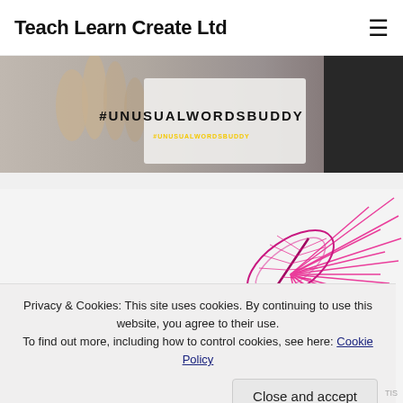Teach Learn Create Ltd
[Figure (photo): Banner image showing hands on a book/paper with #UNUSUALWORDSBUDDY text overlay in bold black letters, and additional yellow text below]
[Figure (photo): Card design featuring pink radiating feather/brush strokes and the word SARCALESTHESIA in bold dark blue italic letters]
Privacy & Cookies: This site uses cookies. By continuing to use this website, you agree to their use.
To find out more, including how to control cookies, see here: Cookie Policy
Close and accept